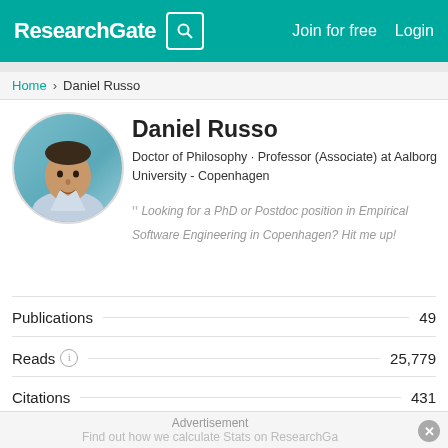ResearchGate  Join for free  Login
Home > Daniel Russo
Daniel Russo
Doctor of Philosophy · Professor (Associate) at Aalborg University - Copenhagen
" Looking for a PhD or Postdoc position in Empirical Software Engineering in Copenhagen? Hit me up!
Publications  49
Reads  25,779
Citations  431
Advertisement
Find out how we calculate Stats on ResearchGa…